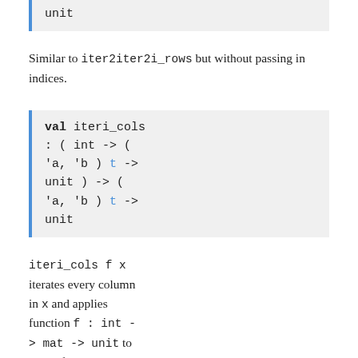unit
Similar to iter2iter2i_rows but without passing in indices.
val iteri_cols : ( int -> ( 'a, 'b ) t -> unit ) -> ( 'a, 'b ) t -> unit
iteri_cols f x iterates every column in x and applies function f : int -> mat -> unit to each of them.